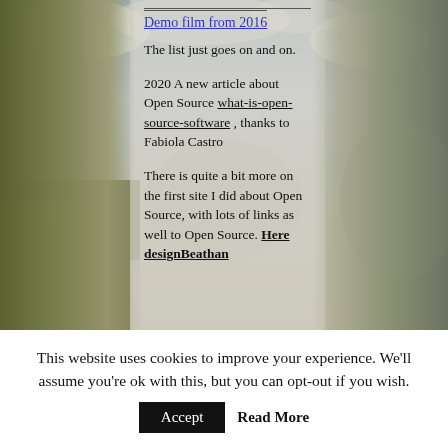[Figure (photo): Landscape photo background showing clouds, sky, wetlands with golden grasses on the left side, misty trees in the center, and mountains/hills on the right side.]
Demo film from 2016
The list just goes on and on.
2020 A new article about Open Source what-is-open-source-software , thanks to Fabiola Castro
There is quite a bit more on the first site I did about Open Source, with lots of links as well to Open Source. Here designBeathan
This website uses cookies to improve your experience. We'll assume you're ok with this, but you can opt-out if you wish.
Accept
Read More